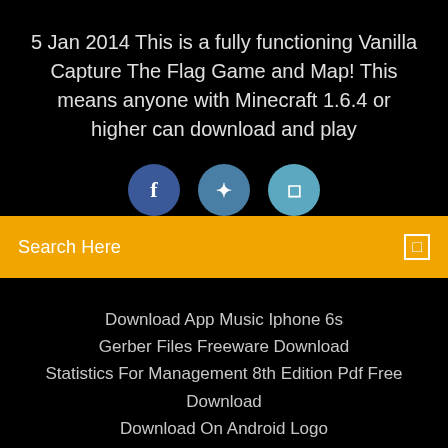5 Jan 2014 This is a fully functioning Vanilla Capture The Flag Game and Map! This means anyone with Minecraft 1.6.4 or higher can download and play
[Figure (illustration): Three social media icon circles: Facebook (dark blue), Twitter (medium blue), Instagram (light blue), partially visible at bottom]
Search Here
Download App Music Iphone 6s
Gerber Files Freeware Download
Statistics For Management 8th Edition Pdf Free Download
Download On Android Logo
Copyright ©2022 All rights reserved